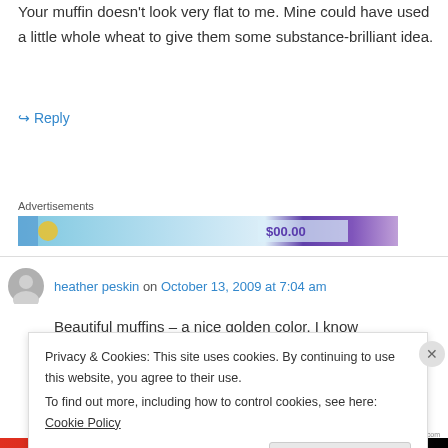Your muffin doesn't look very flat to me. Mine could have used a little whole wheat to give them some substance-brilliant idea.
↪ Reply
Advertisements
[Figure (other): Advertisement banner with blue gradient and price showing $00.00]
heather peskin on October 13, 2009 at 7:04 am
Beautiful muffins – a nice golden color. I know
Privacy & Cookies: This site uses cookies. By continuing to use this website, you agree to their use.
To find out more, including how to control cookies, see here: Cookie Policy
Close and accept